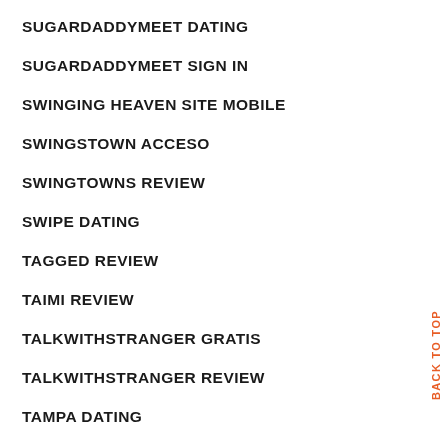SUGARDADDYMEET DATING
SUGARDADDYMEET SIGN IN
SWINGING HEAVEN SITE MOBILE
SWINGSTOWN ACCESO
SWINGTOWNS REVIEW
SWIPE DATING
TAGGED REVIEW
TAIMI REVIEW
TALKWITHSTRANGER GRATIS
TALKWITHSTRANGER REVIEW
TAMPA DATING
TANTAN DATING
TATTOO DATING ONLINE